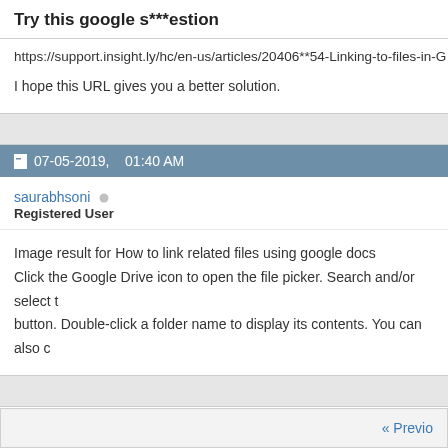Try this google s***estion
https://support.insight.ly/hc/en-us/articles/20406**54-Linking-to-files-in-G
I hope this URL gives you a better solution.
07-05-2019,   01:40 AM
saurabhsoni
Registered User
Image result for How to link related files using google docs
Click the Google Drive icon to open the file picker. Search and/or select t
button. Double-click a folder name to display its contents. You can also c
+ Reply to Thread
« Previo